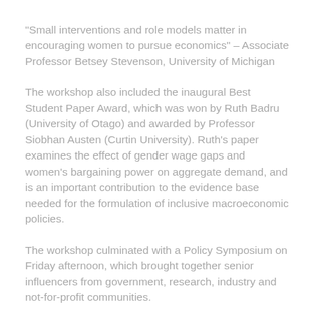“Small interventions and role models matter in encouraging women to pursue economics” – Associate Professor Betsey Stevenson, University of Michigan
The workshop also included the inaugural Best Student Paper Award, which was won by Ruth Badru (University of Otago) and awarded by Professor Siobhan Austen (Curtin University). Ruth’s paper examines the effect of gender wage gaps and women’s bargaining power on aggregate demand, and is an important contribution to the evidence base needed for the formulation of inclusive macroeconomic policies.
The workshop culminated with a Policy Symposium on Friday afternoon, which brought together senior influencers from government, research, industry and not-for-profit communities.
The symposium drew on research insights and key themes